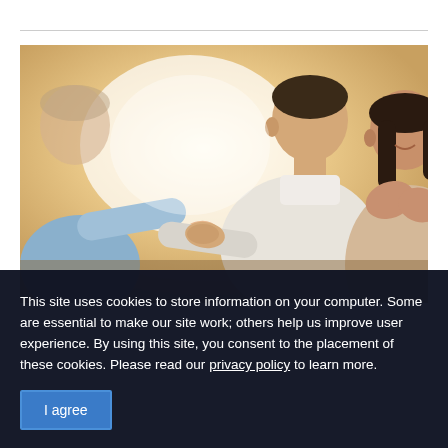[Figure (photo): Business meeting photo showing two people shaking hands across a table, with a smiling woman in the foreground watching the handshake.]
This site uses cookies to store information on your computer. Some are essential to make our site work; others help us improve user experience. By using this site, you consent to the placement of these cookies. Please read our privacy policy to learn more.
I agree